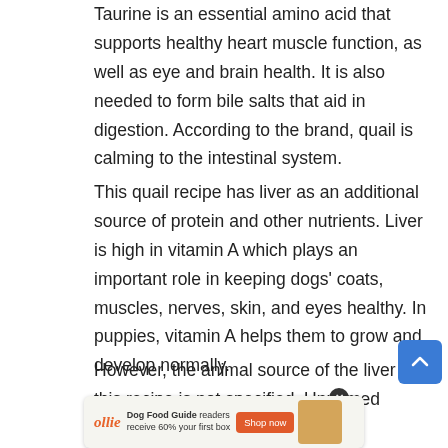Taurine is an essential amino acid that supports healthy heart muscle function, as well as eye and brain health. It is also needed to form bile salts that aid in digestion. According to the brand, quail is calming to the intestinal system.
This quail recipe has liver as an additional source of protein and other nutrients. Liver is high in vitamin A which plays an important role in keeping dogs' coats, muscles, nerves, skin, and eyes healthy. In puppies, vitamin A helps them to grow and develop normally.
However, the animal source of the liver in this recipe is not specified. Unnamed animal ingredients are considered lower quality and it is usually...
[Figure (other): Advertisement banner for Ollie dog food: 'Dog Food Guide readers receive 60% your first box' with Shop now button and food image]